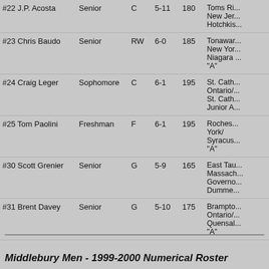| Name | Year | Pos | Ht | Wt | Info |
| --- | --- | --- | --- | --- | --- |
| #22 J.P. Acosta | Senior | C | 5-11 | 180 | Toms Ri...
New Jer...
Hotchkis... |
| #23 Chris Baudo | Senior | RW | 6-0 | 185 | Tonawar...
New Yor...
Niagara ...
"A" |
| #24 Craig Leger | Sophomore | C | 6-1 | 195 | St. Cath...
Ontario/...
St. Cath...
Junior A... |
| #25 Tom Paolini | Freshman | F | 6-1 | 195 | Roches...
York/
Syracus...
"A" |
| #30 Scott Grenier | Senior | G | 5-9 | 165 | East Tau...
Massach...
Governo...
Dumme... |
| #31 Brent Davey | Senior | G | 5-10 | 175 | Brampto...
Ontario/...
Quensal...
"A" |
Middlebury Men - 1999-2000 Numerical Roster